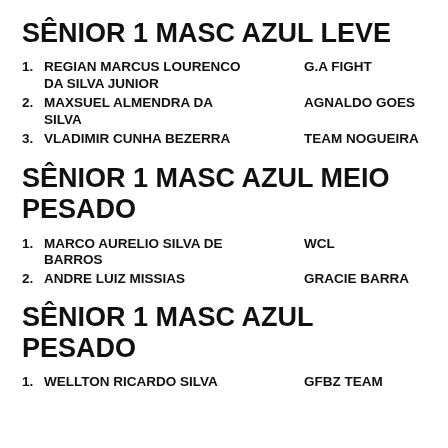SÊNIOR 1 MASC AZUL LEVE
1. REGIAN MARCUS LOURENCO DA SILVA JUNIOR — G.A FIGHT
2. MAXSUEL ALMENDRA DA SILVA — AGNALDO GOES
3. VLADIMIR CUNHA BEZERRA — TEAM NOGUEIRA
SÊNIOR 1 MASC AZUL MEIO PESADO
1. MARCO AURELIO SILVA DE BARROS — WCL
2. ANDRE LUIZ MISSIAS — GRACIE BARRA
SÊNIOR 1 MASC AZUL PESADO
1. WELLTON RICARDO SILVA — GFBZ TEAM